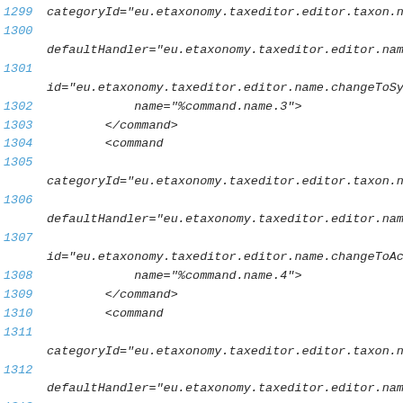code listing lines 1299-1315 of XML source
1299 categoryId="eu.etaxonomy.taxeditor.editor.taxon.name.com
1300
defaultHandler="eu.etaxonomy.taxeditor.editor.name.handl
1301
id="eu.etaxonomy.taxeditor.editor.name.changeToSynonym"
1302         name="%command.name.3">
1303         </command>
1304         <command
1305
categoryId="eu.etaxonomy.taxeditor.editor.taxon.name.com
1306
defaultHandler="eu.etaxonomy.taxeditor.editor.name.handl
1307
id="eu.etaxonomy.taxeditor.editor.name.changeToAcceptedT
1308         name="%command.name.4">
1309         </command>
1310         <command
1311
categoryId="eu.etaxonomy.taxeditor.editor.taxon.name.com
1312
defaultHandler="eu.etaxonomy.taxeditor.editor.name.handl
1313
id="eu.etaxonomy.taxeditor.editor.name.changeToMisapplic
1314         name="%command.name.5">
1315         </command>